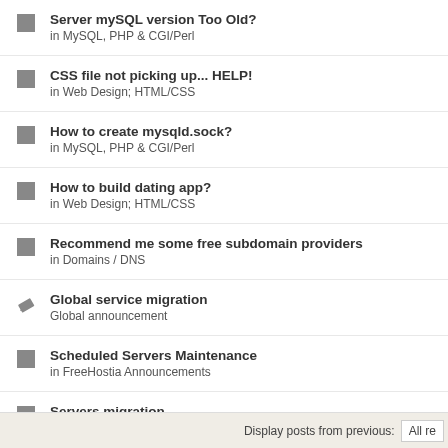Server mySQL version Too Old?
in MySQL, PHP & CGI/Perl
CSS file not picking up... HELP!
in Web Design; HTML/CSS
How to create mysqld.sock?
in MySQL, PHP & CGI/Perl
How to build dating app?
in Web Design; HTML/CSS
Recommend me some free subdomain providers
in Domains / DNS
Global service migration
Global announcement
Scheduled Servers Maintenance
in FreeHostia Announcements
Servers migration
in FreeHostia Announcements
Cannot login to CP
in FreeHostia General Support
Display posts from previous:  All re